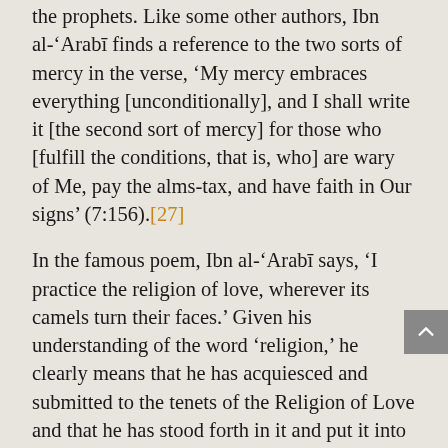the prophets. Like some other authors, Ibn al-'Arabī finds a reference to the two sorts of mercy in the verse, 'My mercy embraces everything [unconditionally], and I shall write it [the second sort of mercy] for those who [fulfill the conditions, that is, who] are wary of Me, pay the alms-tax, and have faith in Our signs' (7:156).[27]
In the famous poem, Ibn al-'Arabī says, 'I practice the religion of love, wherever its camels turn their faces.' Given his understanding of the word 'religion,' he clearly means that he has acquiesced and submitted to the tenets of the Religion of Love and that he has stood forth in it and put it into practice. When we look at his commentary on the verse, it becomes clear that he is talking specifically about the second tenet, that is, acquiescing to the Sunna of the Prophet:
I am alluding to God's words, 'Follow me; God